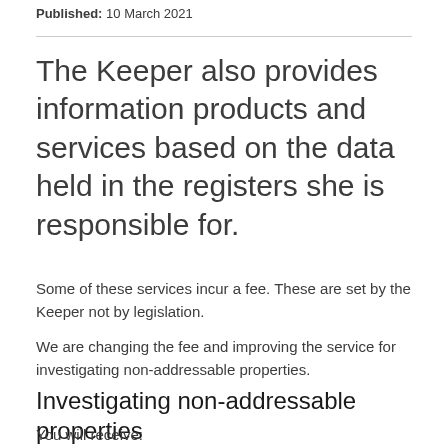Published: 10 March 2021
The Keeper also provides information products and services based on the data held in the registers she is responsible for.
Some of these services incur a fee. These are set by the Keeper not by legislation.
We are changing the fee and improving the service for investigating non-addressable properties.
Investigating non-addressable properties
You will receive: